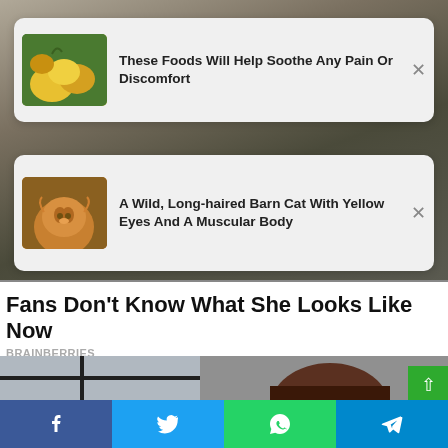[Figure (screenshot): Background photo of a woman, blurred, top half of page]
These Foods Will Help Soothe Any Pain Or Discomfort
A Wild, Long-haired Barn Cat With Yellow Eyes And A Muscular Body
Fans Don't Know What She Looks Like Now
BRAINBERRIES
[Figure (photo): Bottom portion showing a woman with short dark hair near a window]
[Figure (infographic): Bottom share bar with Facebook, Twitter, WhatsApp, Telegram buttons]